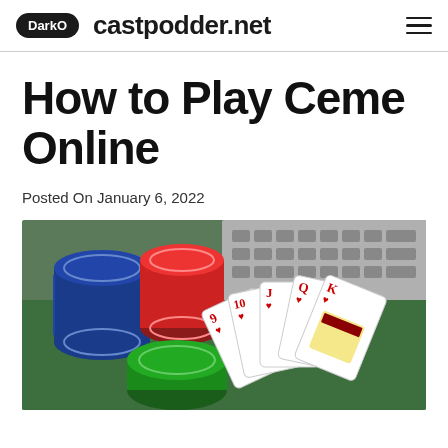DarkO  castpodder.net
How to Play Ceme Online
Posted On January 6, 2022
[Figure (photo): Playing cards (9, 10, J, Q, K of hearts) fanned out on a green surface next to stacks of blue, red, and green casino chips on a laptop keyboard]